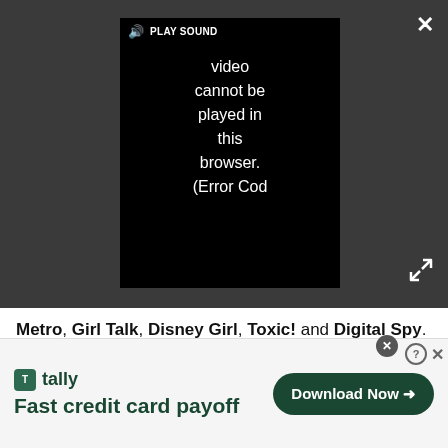[Figure (screenshot): Video player showing error: 'Video cannot be played in this browser. (Error Cod' with speaker/PLAY SOUND controls, on dark grey background. Close (×) button top right, expand button bottom right.]
Metro, Girl Talk, Disney Girl, Toxic! and Digital Spy.
He has reported LIVE from the red carpet at The British Soap Awards interviewing glammed-up stars from soapland, and hosted a Facebook LIVE session for Metro with Home and Away legend Ray Meagher (Alf "Stone the flamin' crows!"
[Figure (screenshot): Tally advertisement banner: 'Fast credit card payoff' with Download Now button]